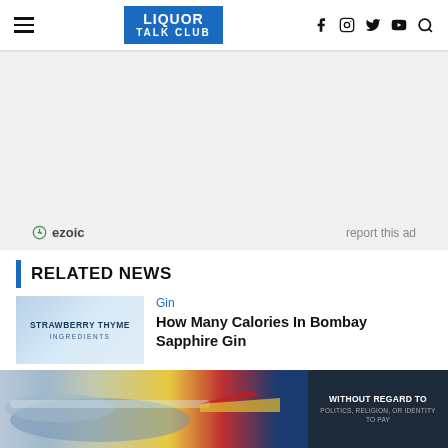LIQUOR TALK CLUB — navigation header with social icons
[Figure (other): Advertisement zone (gray background, ezoic label)]
RELATED NEWS
[Figure (photo): Strawberry Thyme ingredients thumbnail for Bombay Sapphire Gin article]
Gin
How Many Calories In Bombay Sapphire Gin
[Figure (photo): Advertisement banner with airplane image and text WITHOUT REGARD TO POLITICS, RELIGION, OR IDENTITY TO PAY]